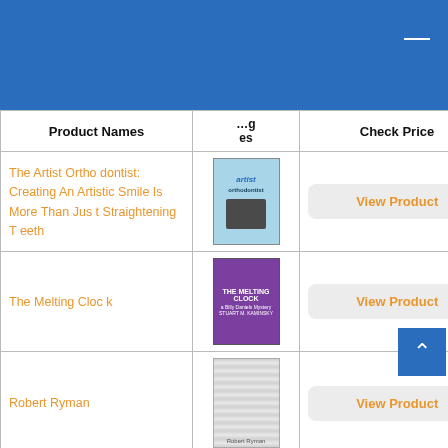| Product Names | …ges | Check Price |
| --- | --- | --- |
| The Artist Orthodontist: Creating An Artistic Smile Is More Than Just Straightening Teeth | [image] | View Product |
| The Melting Clock | [image] | View Product |
| Robert Ryman | [image] | View Product |
| Robert Ryman | [image] | View Product |